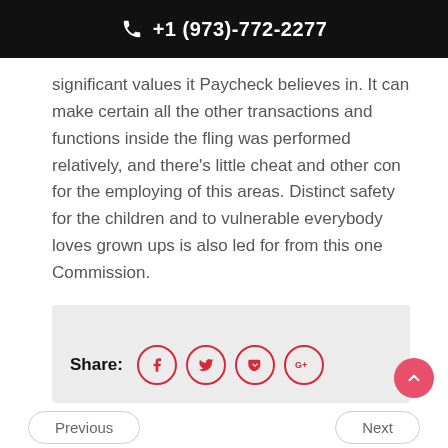+1 (973)-772-2277
significant values it Paycheck believes in. It can make certain all the other transactions and functions inside the fling was performed relatively, and there’s little cheat and other con for the employing of this areas. Distinct safety for the children and to vulnerable everybody loves grown ups is also led for from this one Commission.
[Figure (infographic): Share section with social media icons (Facebook, Twitter, a bookmark/pocket icon, Google+) in red circle outlines, preceded by bold 'Share:' label on a light gray background box.]
Previous
Next